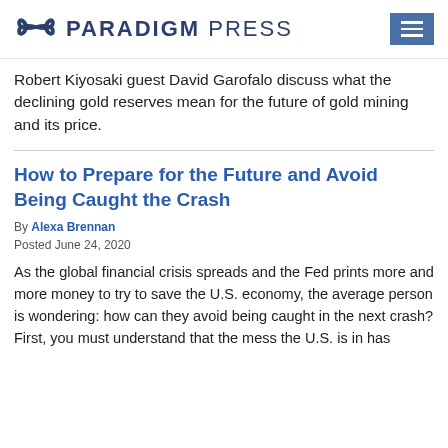PARADIGM PRESS
Robert Kiyosaki guest David Garofalo discuss what the declining gold reserves mean for the future of gold mining and its price.
How to Prepare for the Future and Avoid Being Caught the Crash
By Alexa Brennan
Posted June 24, 2020
As the global financial crisis spreads and the Fed prints more and more money to try to save the U.S. economy, the average person is wondering: how can they avoid being caught in the next crash? First, you must understand that the mess the U.S. is in has